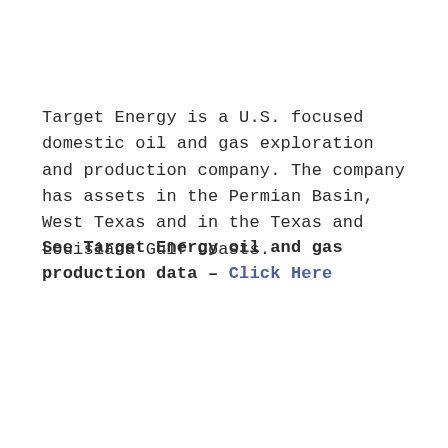Target Energy is a U.S. focused domestic oil and gas exploration and production company.  The company has assets in the Permian Basin, West Texas and in the Texas and Louisiana Gulf Coasts.
See Target Energy oil and gas production data – Click Here